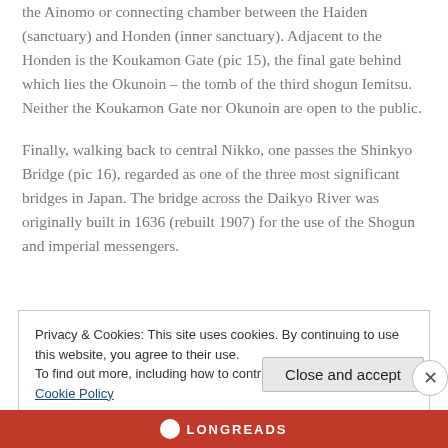the Ainomo or connecting chamber between the Haiden (sanctuary) and Honden (inner sanctuary). Adjacent to the Honden is the Koukamon Gate (pic 15), the final gate behind which lies the Okunoin – the tomb of the third shogun Iemitsu. Neither the Koukamon Gate nor Okunoin are open to the public.
Finally, walking back to central Nikko, one passes the Shinkyo Bridge (pic 16), regarded as one of the three most significant bridges in Japan. The bridge across the Daikyo River was originally built in 1636 (rebuilt 1907) for the use of the Shogun and imperial messengers.
Privacy & Cookies: This site uses cookies. By continuing to use this website, you agree to their use.
To find out more, including how to control cookies, see here: Cookie Policy